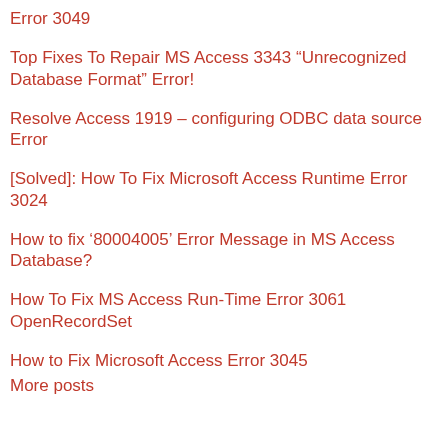Error 3049
Top Fixes To Repair MS Access 3343 “Unrecognized Database Format” Error!
Resolve Access 1919 – configuring ODBC data source Error
[Solved]: How To Fix Microsoft Access Runtime Error 3024
How to fix ‘8000 4005’ Error Message in MS Access Database?
How To Fix MS Access Run-Time Error 3061 OpenRecordSet
How to Fix Microsoft Access Error 3045
More posts